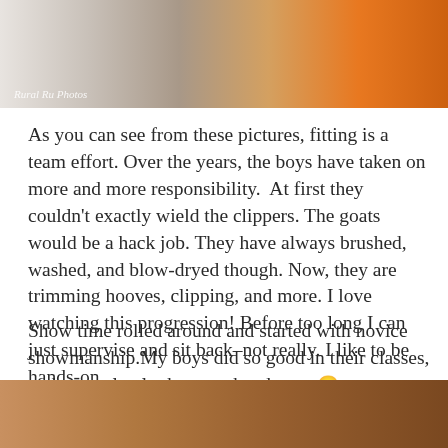[Figure (photo): Partial photo of a person in an orange shirt, likely working with animals; watermark reads 'Rural Ru Photos']
As you can see from these pictures, fitting is a team effort. Over the years, the boys have taken on more and more responsibility.  At first they couldn't exactly wield the clippers. The goats would be a hack job. They have always brushed, washed, and blow-dryed though. Now, they are trimming hooves, clipping, and more. I love watching this progression! Before too long I can just supervise and sit back–not really. I like to be hands-on.
Show time rolled around and started with novice showmanship.My boys did so good in their classes, and were clearly the most handsome 🙂
[Figure (photo): Partial photo with warm brown/tan tones, bottom of page, appears to show an animal or outdoor scene]